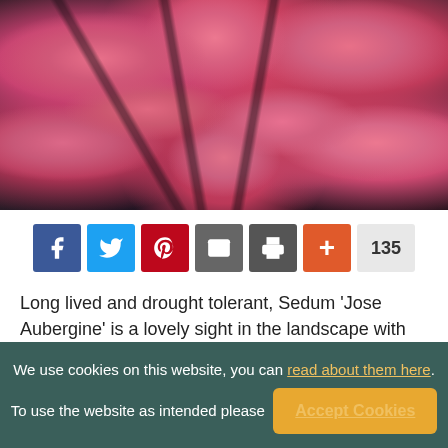[Figure (photo): Close-up photograph of Sedum 'Jose Aubergine' showing clusters of deep dusky pink flowers densely packed in umbrella-shaped flower heads against dark purple-brown stems and foliage]
[Figure (infographic): Social sharing bar with buttons: Facebook (blue), Twitter (light blue), Pinterest (red), Email (grey), Print (grey), Plus/More (orange), and a share count of 135]
Long lived and drought tolerant, Sedum 'Jose Aubergine' is a lovely sight in the landscape with its masses of deep, dusky pink flowers, densely packed in large umbrella-shaped flower
We use cookies on this website, you can read about them here. To use the website as intended please  Accept Cookies